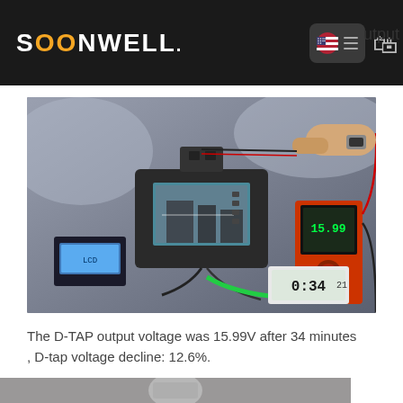SOONWELL output
[Figure (photo): Photo of a cinema camera rig on a test bench with a multimeter showing voltage reading, a small LCD display showing 0:34:21 timer, green fiber cable, and a person's hand holding test probes to the camera's D-TAP connector]
The D-TAP output voltage was 15.99V after 34 minutes , D-tap voltage decline: 12.6%.
[Figure (photo): Partial bottom image showing another product or device, cropped]